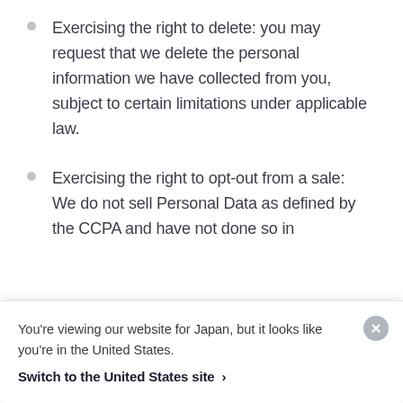Exercising the right to delete: you may request that we delete the personal information we have collected from you, subject to certain limitations under applicable law.
Exercising the right to opt-out from a sale: We do not sell Personal Data as defined by the CCPA and have not done so in
You're viewing our website for Japan, but it looks like you're in the United States.
Switch to the United States site ›